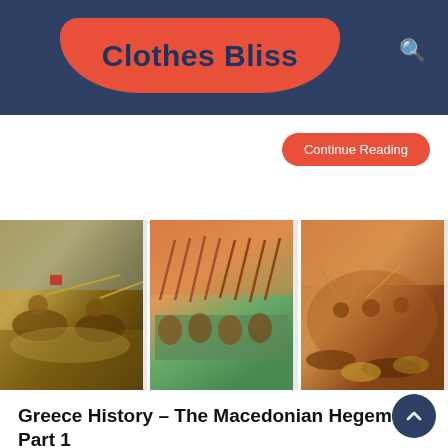Clothes Bliss
Continue Reading
[Figure (illustration): Three illustrated battle scenes from ancient/classical warfare showing cavalry charges and infantry formations with spears]
Greece History – The Macedonian Hegemony Part 1
February 17, 2022   Clothesbliss
According to Thenailmythology, the conditions of Greece c not fail to appear very painful at the time; full as it was of